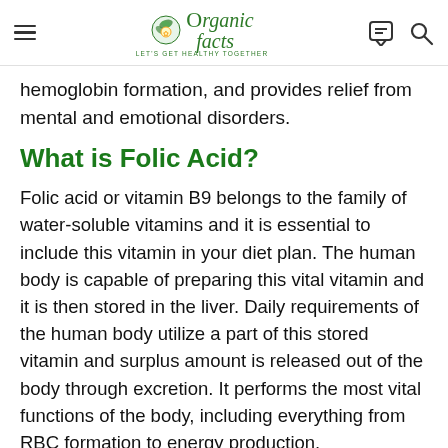Organic Facts — LET'S GET HEALTHY TOGETHER
hemoglobin formation, and provides relief from mental and emotional disorders.
What is Folic Acid?
Folic acid or vitamin B9 belongs to the family of water-soluble vitamins and it is essential to include this vitamin in your diet plan. The human body is capable of preparing this vital vitamin and it is then stored in the liver. Daily requirements of the human body utilize a part of this stored vitamin and surplus amount is released out of the body through excretion. It performs the most vital functions of the body, including everything from RBC formation to energy production.